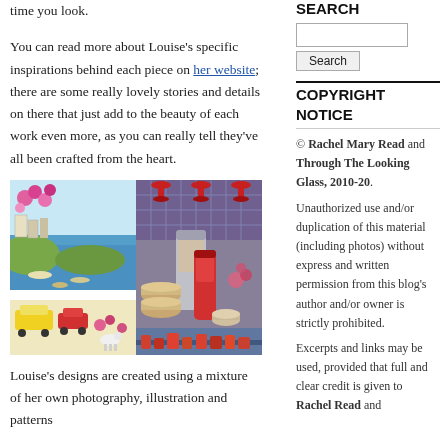time you look.
You can read more about Louise’s specific inspirations behind each piece on her website; there are some really lovely stories and details on there that just add to the beauty of each work even more, as you can really tell they’ve all been crafted from the heart.
[Figure (photo): Two colorful art pieces side by side: left shows a Hong Kong harbour scene with boats, vehicles, and flowers; right shows a still life with Chinese thermos, dim sum baskets, and decorative items.]
Louise’s designs are created using a mixture of her own photography, illustration and patterns
SEARCH
Search button and input box
COPYRIGHT NOTICE
© Rachel Mary Read and Through The Looking Glass, 2010-20.
Unauthorized use and/or duplication of this material (including photos) without express and written permission from this blog’s author and/or owner is strictly prohibited.
Excerpts and links may be used, provided that full and clear credit is given to Rachel Read and